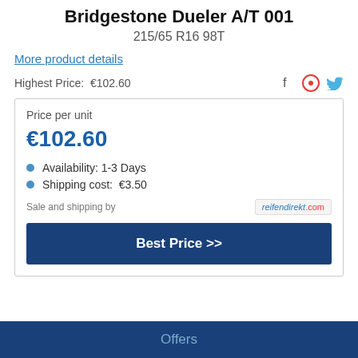Bridgestone Dueler A/T 001
215/65 R16 98T
More product details
Highest Price:  €102.60
Price per unit
€102.60
Availability: 1-3 Days
Shipping cost:  €3.50
Sale and shipping by  reifendirekt.com
Best Price >>
Offers